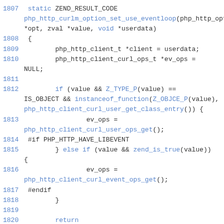[Figure (screenshot): C source code snippet showing a function php_http_curlm_option_set_use_eventloop with line numbers 1807-1821+, featuring keywords highlighted in blue and regular code in dark text on white background.]